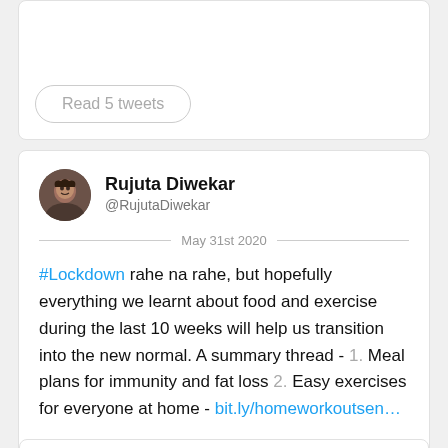[Figure (screenshot): Top portion of a tweet card showing a 'Read 5 tweets' button]
Read 5 tweets
[Figure (screenshot): Twitter profile avatar of Rujuta Diwekar]
Rujuta Diwekar
@RujutaDiwekar
May 31st 2020
#Lockdown rahe na rahe, but hopefully everything we learnt about food and exercise during the last 10 weeks will help us transition into the new normal. A summary thread - 1. Meal plans for immunity and fat loss 2. Easy exercises for everyone at home - bit.ly/homeworkoutsen…
[Figure (screenshot): Embedded media placeholder at the bottom of the tweet]